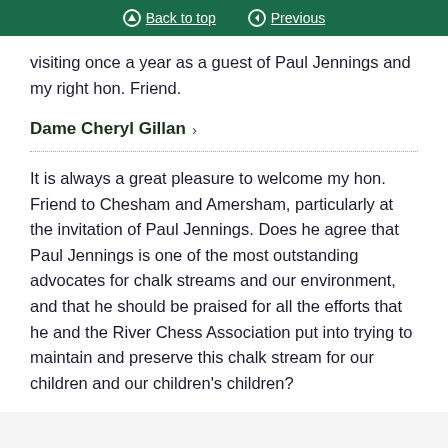Back to top  Previous
visiting once a year as a guest of Paul Jennings and my right hon. Friend.
Dame Cheryl Gillan
It is always a great pleasure to welcome my hon. Friend to Chesham and Amersham, particularly at the invitation of Paul Jennings. Does he agree that Paul Jennings is one of the most outstanding advocates for chalk streams and our environment, and that he should be praised for all the efforts that he and the River Chess Association put into trying to maintain and preserve this chalk stream for our children and our children’s children?